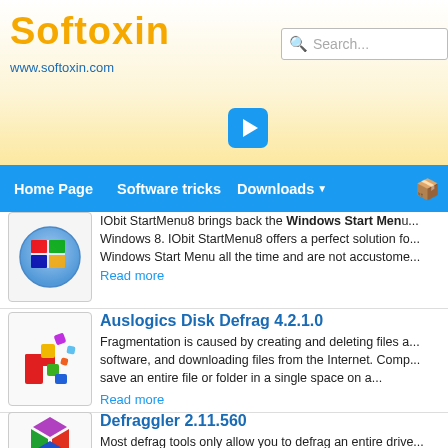Softoxin
www.softoxin.com
[Figure (screenshot): Search box with magnifying glass icon and placeholder text 'Search...']
[Figure (other): Blue play/arrow button]
Home Page  Software tricks  Downloads  P...
IObit StartMenu8 brings back the Windows Start Menu... Windows 8. IObit StartMenu8 offers a perfect solution to... Windows Start Menu all the time and are not accustome...
Read more
Auslogics Disk Defrag 4.2.1.0
Fragmentation is caused by creating and deleting files a... software, and downloading files from the Internet. Comp... save an entire file or folder in a single space on a...
Read more
Defraggler 2.11.560
Most defrag tools only allow you to defrag an entire drive... specify one or more files, folders, or the whole drive to d... Defraggler reads or writes a file, it uses the exact same.
Read more